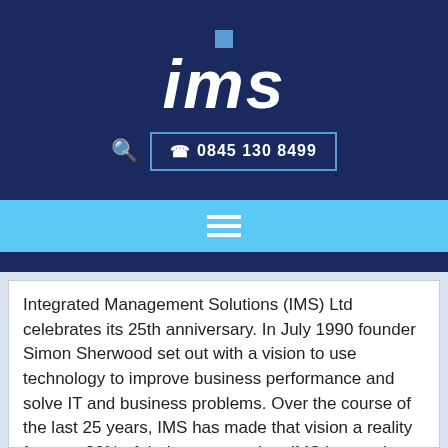[Figure (logo): IMS logo - white italic bold text 'ims' with a small blue square above the 'i', on dark navy background]
☎ 0845 130 8499
Integrated Management Solutions (IMS) Ltd celebrates its 25th anniversary. In July 1990 founder Simon Sherwood set out with a vision to use technology to improve business performance and solve IT and business problems. Over the course of the last 25 years, IMS has made that vision a reality for over 80% of their target market. IMS is now the longest established System 21 specialist in the UK and today comprises a team of 8 personnel and has evolved IMS into a global technology leader for System 21 consultancy to manufactures and distributors primarily in the food, drinks, automotive